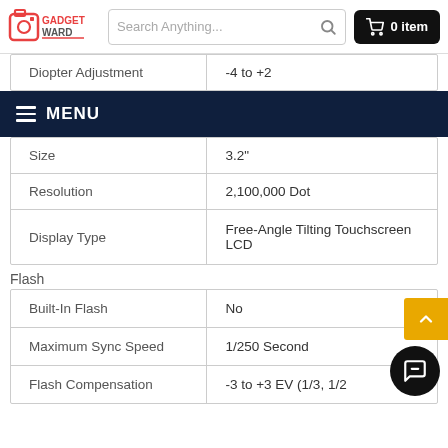GADGET WARD — Search Anything... 0 item
MENU
|  |  |
| --- | --- |
| Diopter Adjustment | -4 to +2 |
| Size | 3.2" |
| Resolution | 2,100,000 Dot |
| Display Type | Free-Angle Tilting Touchscreen LCD |
Flash
|  |  |
| --- | --- |
| Built-In Flash | No |
| Maximum Sync Speed | 1/250 Second |
| Flash Compensation | -3 to +3 EV (1/3, 1/2 |